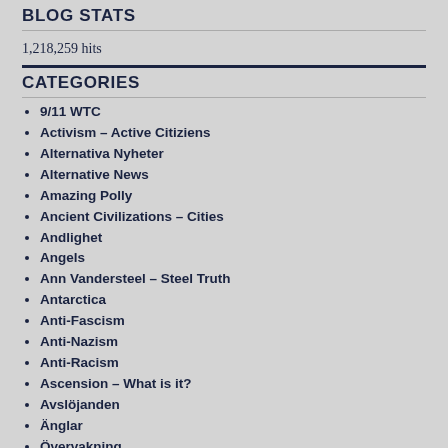BLOG STATS
1,218,259 hits
CATEGORIES
9/11 WTC
Activism – Active Citiziens
Alternativa Nyheter
Alternative News
Amazing Polly
Ancient Civilizations – Cities
Andlighet
Angels
Ann Vandersteel – Steel Truth
Antarctica
Anti-Fascism
Anti-Nazism
Anti-Racism
Ascension – What is it?
Avslöjanden
Änglar
Övervakning